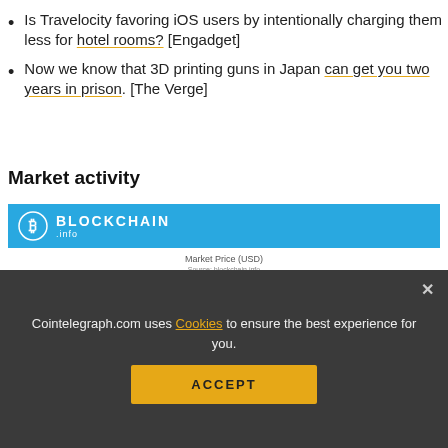Is Travelocity favoring iOS users by intentionally charging them less for hotel rooms? [Engadget]
Now we know that 3D printing guns in Japan can get you two years in prison. [The Verge]
Market activity
[Figure (screenshot): Blockchain.info market price (USD) chart showing price around 350-425 USD range, with a line chart partially visible behind social share buttons overlay.]
[Figure (infographic): Social share buttons bar showing Facebook (blue), Twitter (light blue), Telegram (blue), Reddit (orange), LinkedIn (blue), WhatsApp (green), Copy (grey), and scroll-up (yellow) buttons.]
Cointelegraph.com uses Cookies to ensure the best experience for you.
ACCEPT